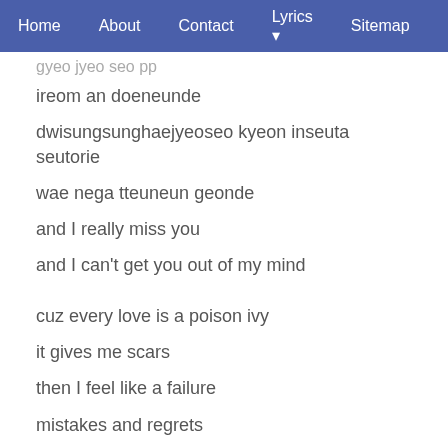Home  About  Contact  Lyrics  Sitemap  Discla
gyeo jyeo seo pp
ireom an doeneunde
dwisungsunghaejyeoseo kyeon inseuta seutorie
wae nega tteuneun geonde
and I really miss you
and I can't get you out of my mind
cuz every love is a poison ivy
it gives me scars
then I feel like a failure
mistakes and regrets
I'm sick of love
sick of poison ivy on my mind
don't need your love